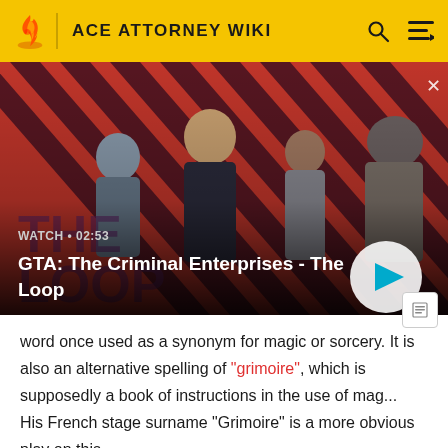ACE ATTORNEY WIKI
[Figure (screenshot): GTA: The Criminal Enterprises - The Loop video thumbnail banner showing four characters on a red and dark diagonal striped background. Shows WATCH • 02:53 label and a play button.]
GTA: The Criminal Enterprises - The Loop
word once used as a synonym for magic or sorcery. It is also an alternative spelling of "grimoire", which is supposedly a book of instructions in the use of mag... His French stage surname "Grimoire" is a more obvious play on this.